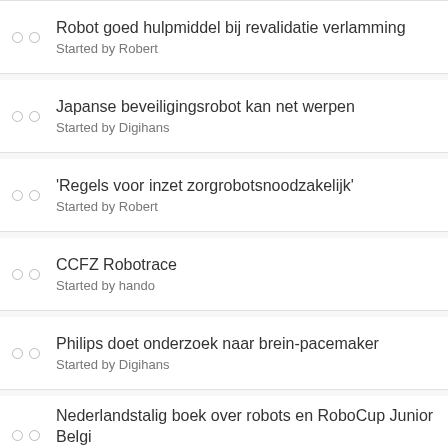Robot goed hulpmiddel bij revalidatie verlamming
Started by Robert
Japanse beveiligingsrobot kan net werpen
Started by Digihans
'Regels voor inzet zorgrobotsnoodzakelijk'
Started by Robert
CCFZ Robotrace
Started by hando
Philips doet onderzoek naar brein-pacemaker
Started by Digihans
Nederlandstalig boek over robots en RoboCup Junior Belgi
Started by Bram VDB
Rotwerk kan beter
Started by Bram VDB
Chatbot slaagt bijna voor 'Turing Test'
Started by Digihans